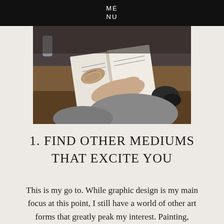ME
NU
[Figure (photo): A person with a tattooed wrist flipping through a magazine or book on a wooden table, with a glass and other items visible in the background.]
1. FIND OTHER MEDIUMS THAT EXCITE YOU
This is my go to. While graphic design is my main focus at this point, I still have a world of other art forms that greatly peak my interest. Painting, printmaking,